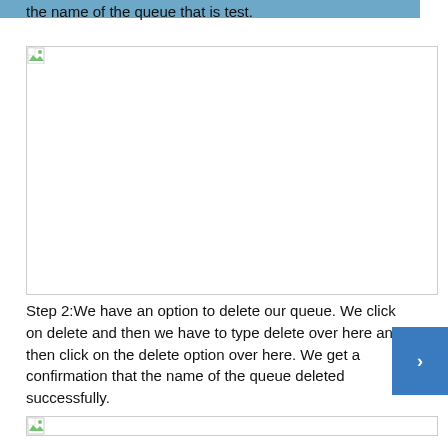the name of the queue that is test.
[Figure (screenshot): Screenshot placeholder image with broken image icon and horizontal line border]
Step 2:We have an option to delete our queue. We click on delete and then we have to type delete over here and then click on the delete option over here. We get a confirmation that the name of the queue deleted successfully.
[Figure (screenshot): Screenshot placeholder image with broken image icon and horizontal line border]